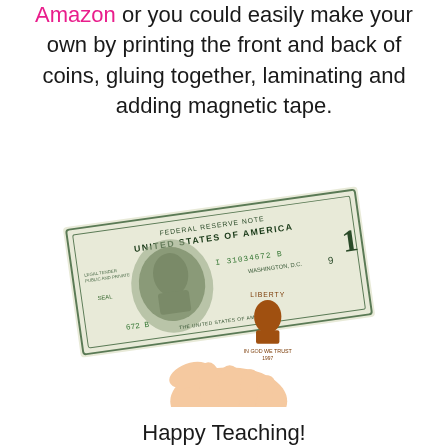Amazon or you could easily make your own by printing the front and back of coins, gluing together, laminating and adding magnetic tape.
[Figure (photo): A hand holding a penny (Lincoln cent) in front of a US one-dollar bill (Federal Reserve Note), showing George Washington's portrait on the bill and Lincoln on the coin.]
Happy Teaching!